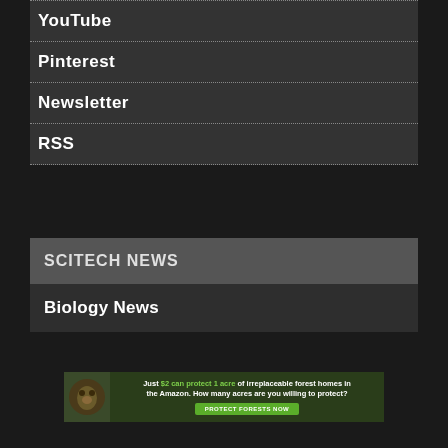YouTube
Pinterest
Newsletter
RSS
SCITECH NEWS
Biology News
[Figure (infographic): Advertisement banner: Just $2 can protect 1 acre of irreplaceable forest homes in the Amazon. How many acres are you willing to protect? PROTECT FORESTS NOW]